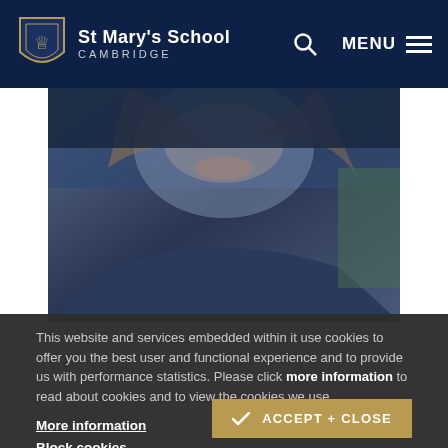St Mary's School Cambridge
[Figure (photo): Close-up portrait photo of a smiling woman with dark background, partially obscured by cookie consent overlay]
This website and services embedded within it use cookies to offer you the best user and functional experience and to provide us with performance statistics. Please click more information to read about cookies and to view the cookies we use.
More information
Block cookies
Privacy notices
✓ ACCEPT + CLOSE